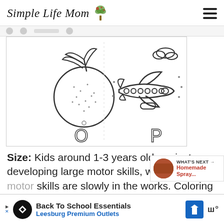Simple Life Mom
[Figure (illustration): Coloring page showing letter O with an orange fruit and letter P with an airplane and clouds, outline drawing style for children]
Size: Kids around 1-3 years old are just developing large motor skills, while fine motor skills are slowly in the works. Coloring helps with that, while providing nice sized coloring
[Figure (screenshot): WHAT'S NEXT → Homemade Spray... promotional box with thumbnail image]
[Figure (infographic): Ad bar: Back To School Essentials - Leesburg Premium Outlets]